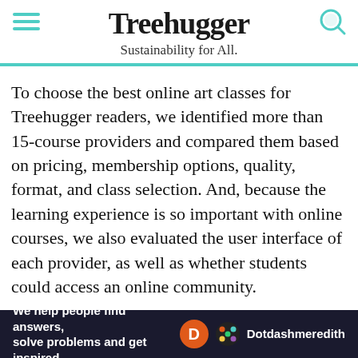Treehugger — Sustainability for All.
To choose the best online art classes for Treehugger readers, we identified more than 15-course providers and compared them based on pricing, membership options, quality, format, and class selection. And, because the learning experience is so important with online courses, we also evaluated the user interface of each provider, as well as whether students could access an online community.
[Figure (photo): Thumbnail image of a child with pink bows in hair against a teal patterned background]
Family
Best Online Art Classes for Kids
We help people find answers, solve problems and get inspired. Dotdash meredith